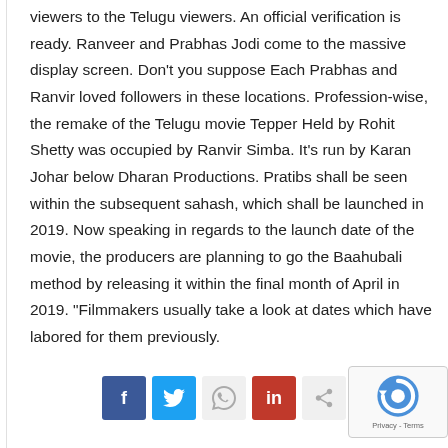viewers to the Telugu viewers. An official verification is ready. Ranveer and Prabhas Jodi come to the massive display screen. Don't you suppose Each Prabhas and Ranvir loved followers in these locations. Profession-wise, the remake of the Telugu movie Tepper Held by Rohit Shetty was occupied by Ranvir Simba. It's run by Karan Johar below Dharan Productions. Pratibs shall be seen within the subsequent sahash, which shall be launched in 2019. Now speaking in regards to the launch date of the movie, the producers are planning to go the Baahubali method by releasing it within the final month of April in 2019. “Filmmakers usually take a look at dates which have labored for them previously.
[Figure (other): Social media share buttons: Facebook (blue), Twitter (light blue), WhatsApp (light grey), LinkedIn (red), Share (light grey), and a reCAPTCHA badge (Privacy - Terms)]